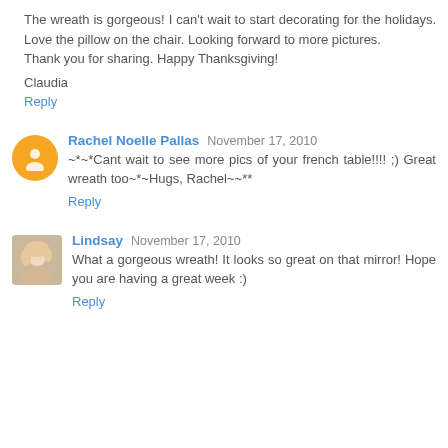The wreath is gorgeous! I can't wait to start decorating for the holidays. Love the pillow on the chair. Looking forward to more pictures.
Thank you for sharing. Happy Thanksgiving!
Claudia
Reply
Rachel Noelle Pallas  November 17, 2010
~*~*Cant wait to see more pics of your french table!!!!  ;) Great wreath too~*~Hugs, Rachel~~**
Reply
Lindsay  November 17, 2010
What a gorgeous wreath! It looks so great on that mirror! Hope you are having a great week :)
Reply